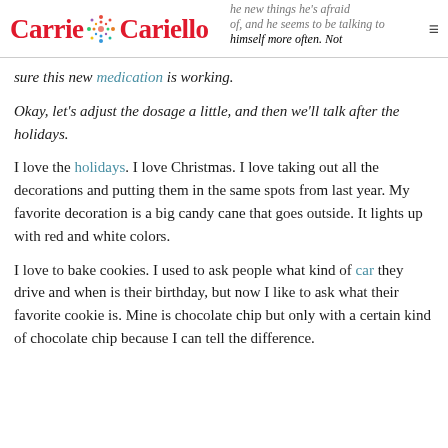Carrie Cariello
he new things he's afraid of, and he seems to be talking to himself more often. Not sure this new medication is working.
Okay, let's adjust the dosage a little, and then we'll talk after the holidays.
I love the holidays. I love Christmas. I love taking out all the decorations and putting them in the same spots from last year. My favorite decoration is a big candy cane that goes outside. It lights up with red and white colors.
I love to bake cookies. I used to ask people what kind of car they drive and when is their birthday, but now I like to ask what their favorite cookie is. Mine is chocolate chip but only with a certain kind of chocolate chip because I can tell the difference.